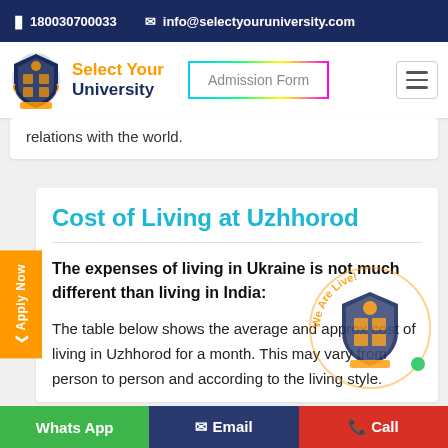180030700033  info@selectyouruniversity.com
[Figure (logo): Select Your University logo with shield emblem and orange/navy text]
relations with the world.
Cost of Living at Uzhhorod
The expenses of living in Ukraine is not much different than living in India:
The table below shows the average and approx cost of living in Uzhhorod for a month. This may vary from person to person and according to the living style.
Whats App  Email  Call